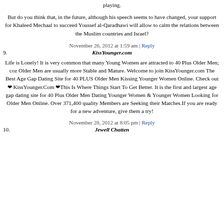Effectively, the Palestinians and the Israelis to have to stop playing.
But do you think that, in the future, although his speech seems to have changed, your support for Khaleed Mechaal to succeed Youssef al-Qaradhawi will allow to calm the relations between the Muslim countries and Israel?
November 26, 2012 at 1:59 am | Reply
9. KissYounger.com
Life is Lonely! It is very common that many Young Women are attracted to 40 Plus Older Men; coz Older Men are usually more Stable and Mature. Welcome to join KissYounger.com The Best Age Gap Dating Site for 40 PLUS Older Men Kissing Younger Women Online. Check out❤ KissYounger.Com ❤This Is Where Things Start To Get Better. It is the first and largest age gap dating site for 40 Plus Older Men Dating Younger Women & Younger Women Looking for Older Men Online. Over 371,400 quality Members are Seeking their Matches.If you are ready for a new adventure, give them a try!
November 28, 2012 at 8:05 pm | Reply
10. Jewell Chatten